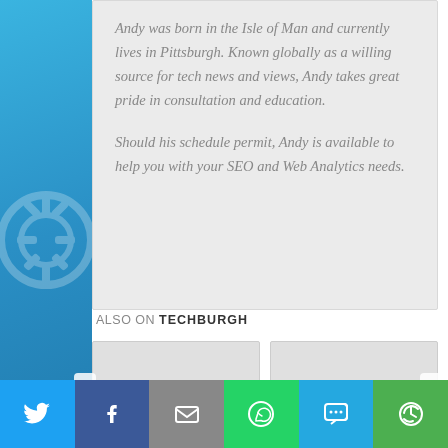Andy was born in the Isle of Man and currently lives in Pittsburgh. Known globally as a willing source for tech news and views, Andy takes great pride in consultation and education.

Should his schedule permit, Andy is available to help you with your SEO and Web Analytics needs.
ALSO ON TECHBURGH
[Figure (screenshot): Two article preview cards with grey placeholder images, showing 'rs ago • 1 comment' text on the first card. Left and right navigation arrows on the sides.]
[Figure (infographic): Bottom share bar with six social sharing buttons: Twitter (blue bird icon), Facebook (dark blue f icon), Email (grey envelope icon), WhatsApp (green phone icon), SMS (blue SMS icon), More (green circular arrow icon)]